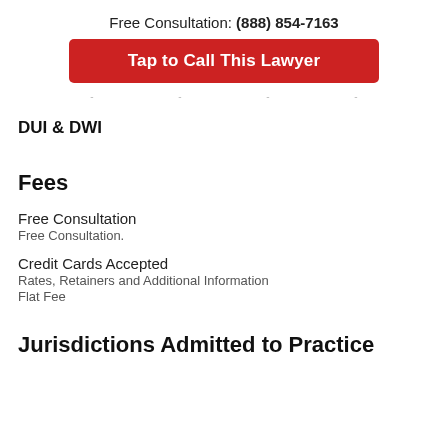Free Consultation: (888) 854-7163
Tap to Call This Lawyer
DUI & DWI
Fees
Free Consultation
Free Consultation.
Credit Cards Accepted
Rates, Retainers and Additional Information
Flat Fee
Jurisdictions Admitted to Practice